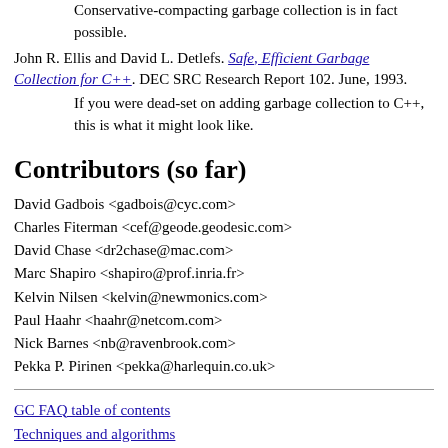Conservative-compacting garbage collection is in fact possible.
John R. Ellis and David L. Detlefs. Safe, Efficient Garbage Collection for C++. DEC SRC Research Report 102. June, 1993.
If you were dead-set on adding garbage collection to C++, this is what it might look like.
Contributors (so far)
David Gadbois <gadbois@cyc.com>
Charles Fiterman <cef@geode.geodesic.com>
David Chase <dr2chase@mac.com>
Marc Shapiro <shapiro@prof.inria.fr>
Kelvin Nilsen <kelvin@newmonics.com>
Paul Haahr <haahr@netcom.com>
Nick Barnes <nb@ravenbrook.com>
Pekka P. Pirinen <pekka@harlequin.co.uk>
GC FAQ table of contents
Techniques and algorithms
Language interfaces
Difficult topics
Silly stuff